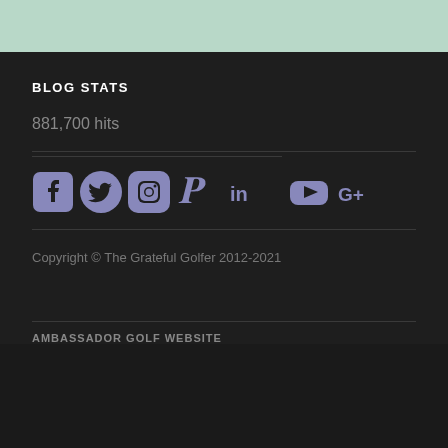BLOG STATS
881,700 hits
[Figure (infographic): Social media icons row: Facebook, Twitter, Instagram, Pinterest, LinkedIn, YouTube, Google+]
Copyright © The Grateful Golfer 2012-2021
AMBASSADOR GOLF WEBSITE